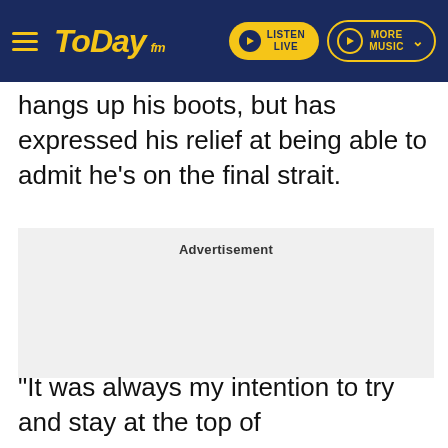Today FM — LISTEN LIVE | MORE MUSIC
hangs up his boots, but has expressed his relief at being able to admit he's on the final strait.
[Figure (other): Advertisement placeholder box with the label 'Advertisement']
"It was always my intention to try and stay at the top of